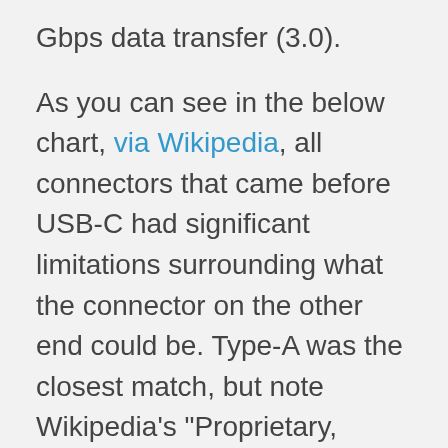Gbps data transfer (3.0).

As you can see in the below chart, via Wikipedia, all connectors that came before USB-C had significant limitations surrounding what the connector on the other end could be. Type-A was the closest match, but note Wikipedia's “Proprietary, hazardous” label for a USB Type-A to Type-A cable, defined as “not inter-operable with USB-IF compliant equipment and possibly damaging to both devices when